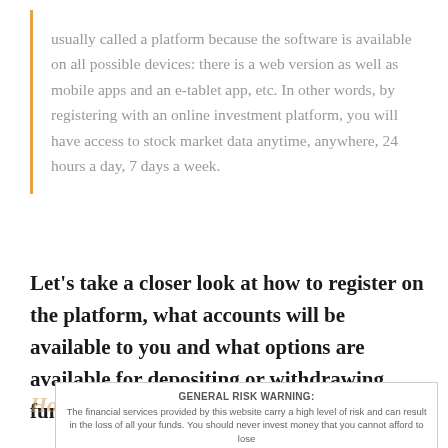usually called a platform because the software is available on all possible devices: there is a web version as well as mobile apps and an e-tablet app, etc. In other words, by registering with an online investment platform, you will have access to stock market data anytime, anywhere, 24 hours a day, 7 days a week.
Let's take a closer look at how to register on the platform, what accounts will be available to you and what options are available for depositing or withdrawing funds.
How to register on the platform?
GENERAL RISK WARNING: The financial services provided by this website carry a high level of risk and can result in the loss of all your funds. You should never invest money that you cannot afford to lose